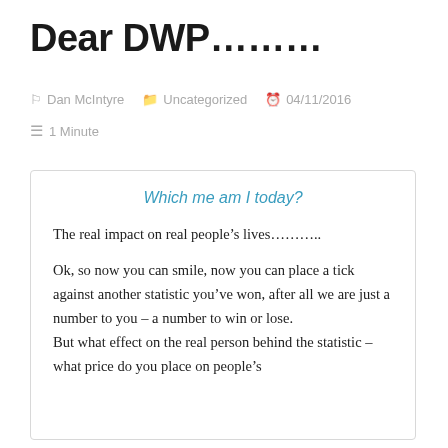Dear DWP………
Dan McIntyre   Uncategorized   04/11/2016
1 Minute
Which me am I today?
The real impact on real people's lives………..
Ok, so now you can smile, now you can place a tick against another statistic you've won, after all we are just a number to you – a number to win or lose.
But what effect on the real person behind the statistic – what price do you place on people's